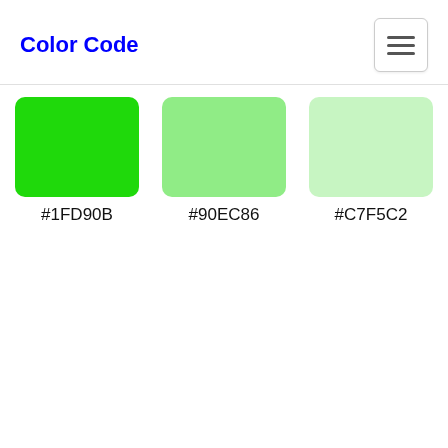Color Code
[Figure (infographic): Three color swatches showing shades of green: #1FD90B (bright green), #90EC86 (medium light green), #C7F5C2 (very light green)]
#1FD90B
#90EC86
#C7F5C2